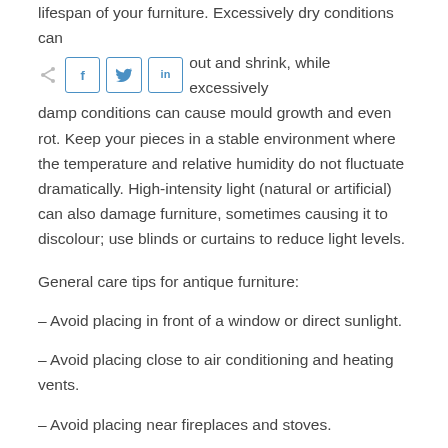lifespan of your furniture. Excessively dry conditions can cause [share icons] dry out and shrink, while excessively damp conditions can cause mould growth and even rot. Keep your pieces in a stable environment where the temperature and relative humidity do not fluctuate dramatically. High-intensity light (natural or artificial) can also damage furniture, sometimes causing it to discolour; use blinds or curtains to reduce light levels.
General care tips for antique furniture:
– Avoid placing in front of a window or direct sunlight.
– Avoid placing close to air conditioning and heating vents.
– Avoid placing near fireplaces and stoves.